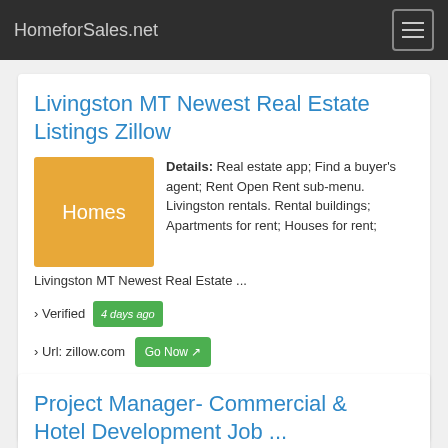HomeforSales.net
Livingston MT Newest Real Estate Listings Zillow
Details: Real estate app; Find a buyer's agent; Rent Open Rent sub-menu. Livingston rentals. Rental buildings; Apartments for rent; Houses for rent; Livingston MT Newest Real Estate ...
› Verified 4 days ago
› Url: zillow.com Go Now
› Get more: Real estate  Show Real Estate
Project Manager- Commercial & Hotel Development Job ...